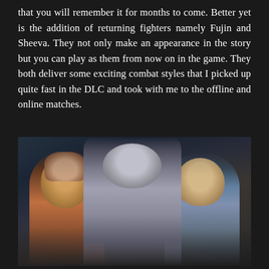that you will remember it for months to come. Better yet is the addition of returning fighters namely Fujin and Sheeva. They not only make an appearance in the story but you can play as them from now on in the game. They both deliver some exciting combat styles that I picked up quite fast in the DLC and took with me to the offline and online matches.
[Figure (photo): Three video game characters posed together against a dark background: a masked creature/fighter character on the left, RoboCop in silver armor in the center pointing forward, and a long-haired fighter in a blue jacket on the right.]